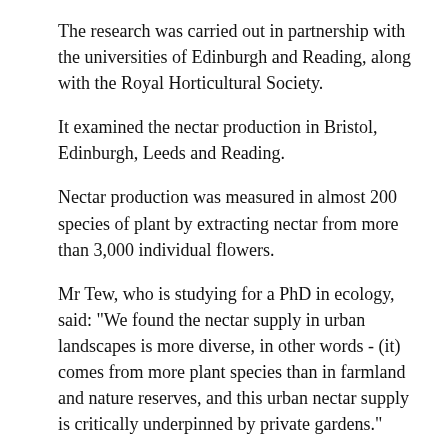The research was carried out in partnership with the universities of Edinburgh and Reading, along with the Royal Horticultural Society.
It examined the nectar production in Bristol, Edinburgh, Leeds and Reading.
Nectar production was measured in almost 200 species of plant by extracting nectar from more than 3,000 individual flowers.
Mr Tew, who is studying for a PhD in ecology, said: "We found the nectar supply in urban landscapes is more diverse, in other words - (it) comes from more plant species than in farmland and nature reserves, and this urban nectar supply is critically underpinned by private gardens."
"Gardens are so important because they produce the most nectar per unit area of land and they cover the largest area of land in the cities we studied."